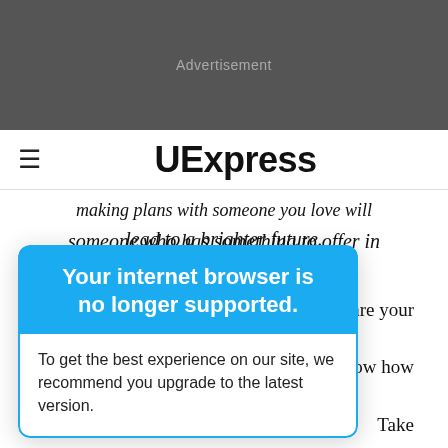[Figure (other): Gray advertisement banner placeholder]
UExpress
making plans with someone you love will lead to a brighter future.
Your internet browser is no longer supported.
To get the best experience on our site, we recommend you upgrade to the latest version.
- Share your
ers know how
Take
ty to help
someone who has something to offer in